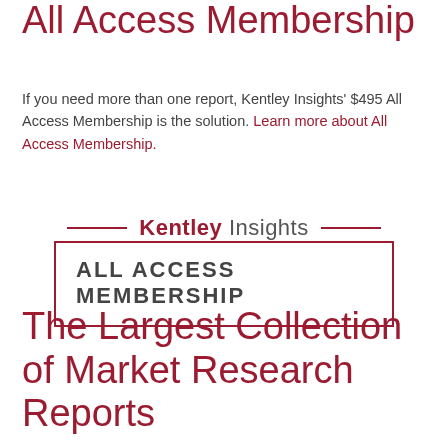All Access Membership
If you need more than one report, Kentley Insights' $495 All Access Membership is the solution. Learn more about All Access Membership.
[Figure (logo): Kentley Insights All Access Membership logo with decorative border box and horizontal lines flanking the title]
The Largest Collection of Market Research Reports